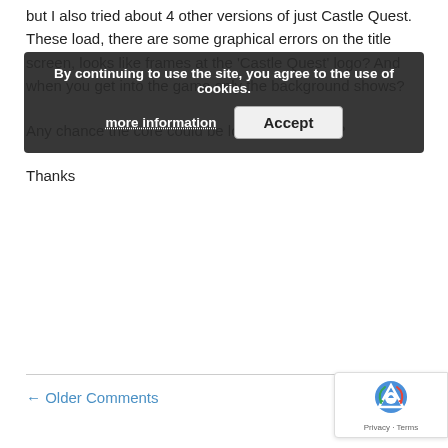but I also tried about 4 other versions of just Castle Quest. These load, there are some graphical errors on the title screen, looks like frames at the 'Castle Quest' logo? And when you get into the game only the background shows?
Any chance the core could be looked at please?
Thanks
[Figure (other): Cookie consent banner with text 'By continuing to use the site, you agree to the use of cookies.' and buttons 'more information' and 'Accept']
← Older Comments
Leave a Reply
Your email address will not be published. Required fields are marked *
[Figure (other): reCAPTCHA badge with logo and 'Privacy - Terms' text]